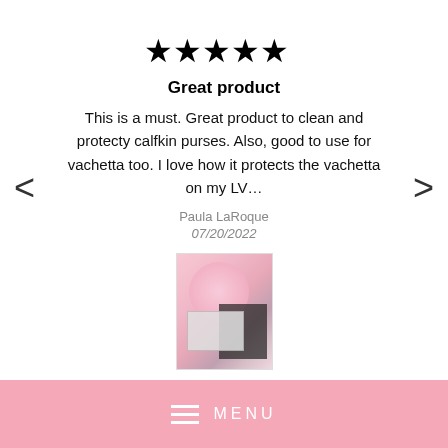[Figure (other): Five black star rating icons]
Great product
This is a must. Great product to clean and protecty calfkin purses. Also, good to use for vachetta too. I love how it protects the vachetta on my LV…
Paula LaRoque
07/20/2022
[Figure (photo): Product photo showing pink leather cleaning bundle with roses and accessories]
Lambskin & Calfskin Leather Bundle
MENU